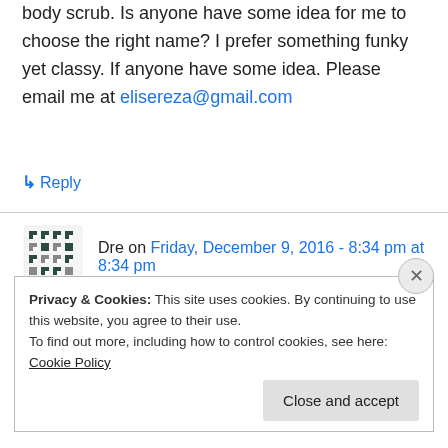body scrub. Is anyone have some idea for me to choose the right name? I prefer something funky yet classy. If anyone have some idea. Please email me at elisereza@gmail.com
↳ Reply
Dre on Friday, December 9, 2016 - 8:34 pm at 8:34 pm
Swaggy
↳ Reply
Privacy & Cookies: This site uses cookies. By continuing to use this website, you agree to their use.
To find out more, including how to control cookies, see here: Cookie Policy